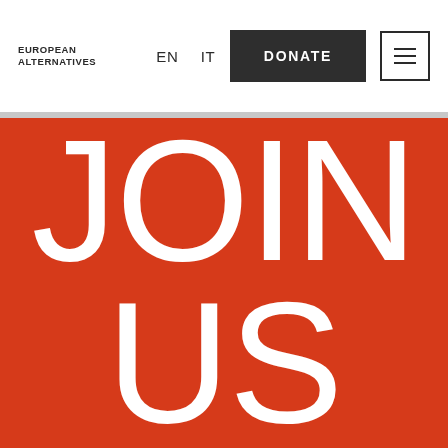EUROPEAN ALTERNATIVES | EN | IT | DONATE | ☰
JOIN US